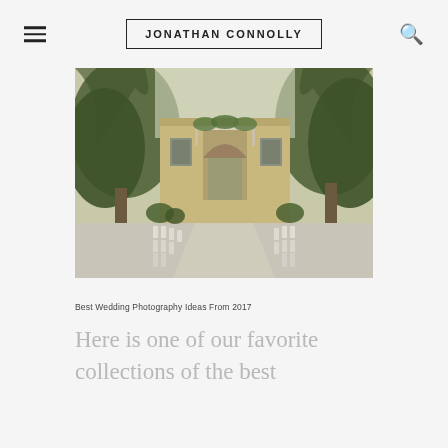JONATHAN CONNOLLY
[Figure (photo): Outdoor wedding venue with classical stone building facade, tall oak trees, white chairs arranged in rows on a stone pathway, and a decorative arch/pergola at the entrance]
Best Wedding Photography Ideas From 2017
Here is one of our favorite collections of the best